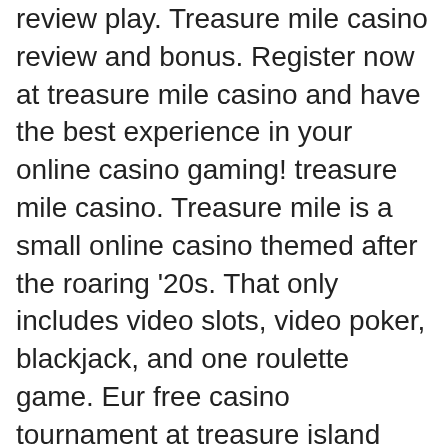review play. Treasure mile casino review and bonus. Register now at treasure mile casino and have the best experience in your online casino gaming! treasure mile casino. Treasure mile is a small online casino themed after the roaring '20s. That only includes video slots, video poker, blackjack, and one roulette game. Eur free casino tournament at treasure island jackpots (sloto cash mirror) — slotocash Game features: FREE CHIPS Play the game every day to get free chips, 5 dragons bitcoin slot big win. Get experience and level-up. CoolCat Casino established in 2002, this casino is licensed in Costa Rica and owned by the Virtual Casino Group. Other spectacular aspects of this casino are as follows: Formidable software An amazing promotion range Total security with SSL encryption, westgate casino my offers. A free slots player is not bounded to just one thematic variety. Instead, there are several